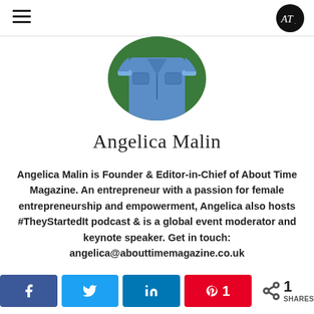AT logo and hamburger menu
[Figure (photo): Circular profile photo of Angelica Malin wearing a blue denim jumpsuit against a green background, cropped at waist/chest area]
Angelica Malin
Angelica Malin is Founder & Editor-in-Chief of About Time Magazine. An entrepreneur with a passion for female entrepreneurship and empowerment, Angelica also hosts #TheyStartedIt podcast & is a global event moderator and keynote speaker. Get in touch: angelica@abouttimemagazine.co.uk
[Figure (other): Social share buttons row: Facebook, Twitter, LinkedIn, Pinterest with count 1, and a shares counter showing 1 SHARES]